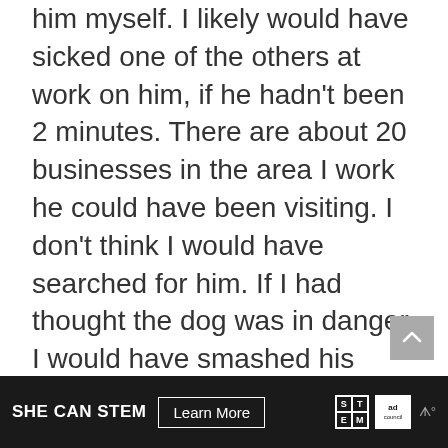him myself. I likely would have sicked one of the others at work on him, if he hadn't been 2 minutes. There are about 20 businesses in the area I work he could have been visiting. I don't think I would have searched for him. If I had thought the dog was in danger, I would have smashed his window (as
[Figure (other): Advertisement banner: SHE CAN STEM with Learn More button, STEM grid logo, Ad Council logo, and weather widget icon]